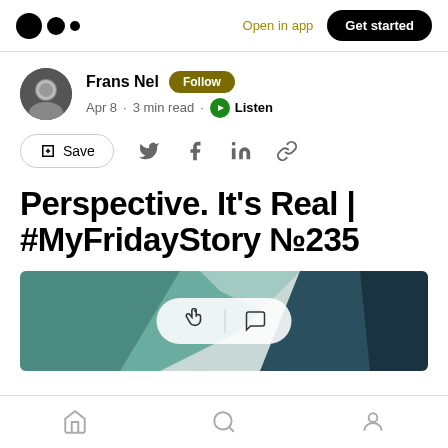Medium logo | Open in app | Get started
Frans Nel · Follow · Apr 8 · 3 min read · Listen
Save (share icons)
Perspective. It's Real | #MyFridayStory №235
[Figure (photo): Hero image showing architectural abstract with teal/green geometric shapes and dark panels, with a semi-transparent white pill overlay containing clap and comment icons]
Home | Search | Profile icons